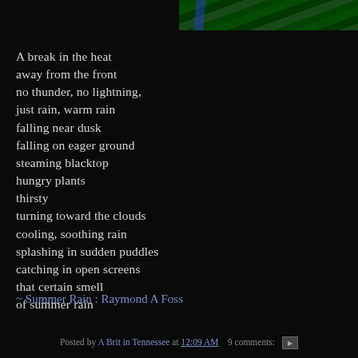[Figure (photo): Partial view of green tropical leaves with a blue highlight, against a dark background, positioned in the top-right corner]
A break in the heat
away from the front
no thunder, no lightning,
just rain, warm rain
falling near dusk
falling on eager ground
steaming blacktop
hungry plants
thirsty
turning toward the clouds
cooling, soothing rain
splashing in sudden puddles
catching in open screens
that certain smell
of summer rain
~ Summer Rain : Raymond A Foss
Posted by A Brit in Tennessee at 12:09 AM   9 comments: